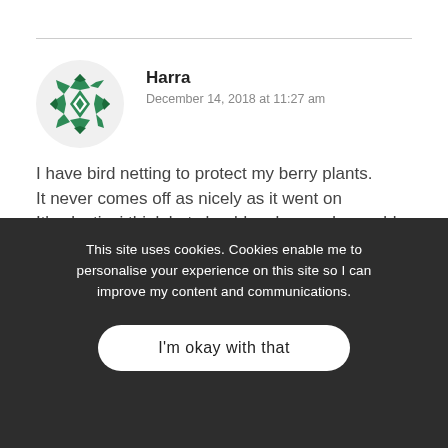[Figure (illustration): Green geometric quilt-pattern avatar icon for user Harra]
Harra
December 14, 2018 at 11:27 am
I have bird netting to protect my berry plants.
It never comes off as nicely as it went on
It's plastic, i think but should make good reusable produce bags, I hope.
Going to give it a try.
This site uses cookies. Cookies enable me to personalise your experience on this site so I can improve my content and communications.
I'm okay with that
Double sided bags are easy to make for flour and dont leak made from